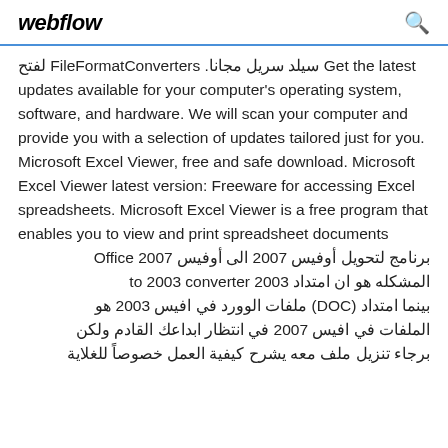webflow
سيلد سريل مجانا. FileFormatConverters لفتح Get the latest updates available for your computer's operating system, software, and hardware. We will scan your computer and provide you with a selection of updates tailored just for you. Microsoft Excel Viewer, free and safe download. Microsoft Excel Viewer latest version: Freeware for accessing Excel spreadsheets. Microsoft Excel Viewer is a free program that enables you to view and print spreadsheet documents برنامج لتحويل أوفيس 2007 الى أوفيس Office 2007 المشكله هو ان امتداد 2003 to 2003 converter بينما امتداد (DOC) ملفات الوورد في افيس 2003 هو الملفات في افيس 2007 في انتظار ابداعك القادم ولكن برجاء تنزيل ملف معه يشرح كيفية العمل خصوصاً للغلاية